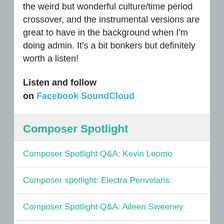the weird but wonderful culture/time period crossover, and the instrumental versions are great to have in the background when I'm doing admin. It's a bit bonkers but definitely worth a listen!
Listen and follow on Facebook SoundCloud
Composer Spotlight
Composer Spotlight Q&A: Kevin Leomo
Composer spotlight: Electra Perivolaris
Composer Spotlight Q&A: Aileen Sweeney
Composer Spotlight Q&A: Andrew Blair